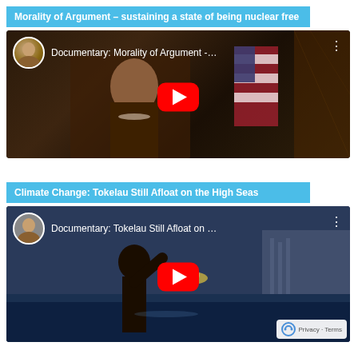Morality of Argument – sustaining a state of being nuclear free
[Figure (screenshot): YouTube video thumbnail for 'Documentary: Morality of Argument -...' showing a woman at a podium with an American flag, with a red YouTube play button overlay and a round avatar thumbnail in the top-left corner.]
Climate Change: Tokelau Still Afloat on the High Seas
[Figure (screenshot): YouTube video thumbnail for 'Documentary: Tokelau Still Afloat on ...' showing a person near water with a raised hand, with a red YouTube play button overlay, a round avatar thumbnail in the top-left corner, and a reCAPTCHA/Privacy-Terms badge in the bottom-right corner.]